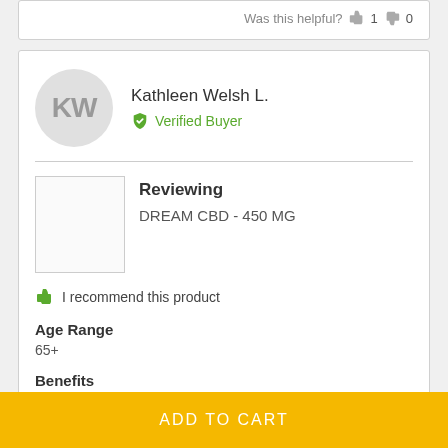Was this helpful? 👍 1 👎 0
Kathleen Welsh L.
✔ Verified Buyer
Reviewing
DREAM CBD - 450 MG
I recommend this product
Age Range
65+
Benefits
ADD TO CART